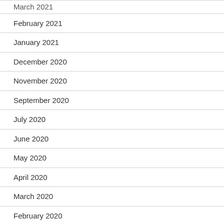March 2021
February 2021
January 2021
December 2020
November 2020
September 2020
July 2020
June 2020
May 2020
April 2020
March 2020
February 2020
January 2020
December 2019